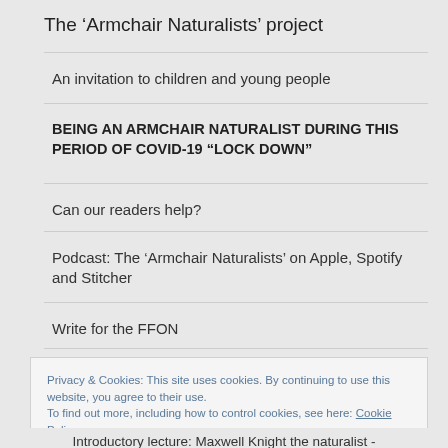The ‘Armchair Naturalists’ project
An invitation to children and young people
BEING AN ARMCHAIR NATURALIST DURING THIS PERIOD OF COVID-19 “LOCK DOWN”
Can our readers help?
Podcast: The ‘Armchair Naturalists’ on Apple, Spotify and Stitcher
Write for the FFON
Privacy & Cookies: This site uses cookies. By continuing to use this website, you agree to their use.
To find out more, including how to control cookies, see here: Cookie Policy
Close and accept
Introductory lecture: Maxwell Knight the naturalist -